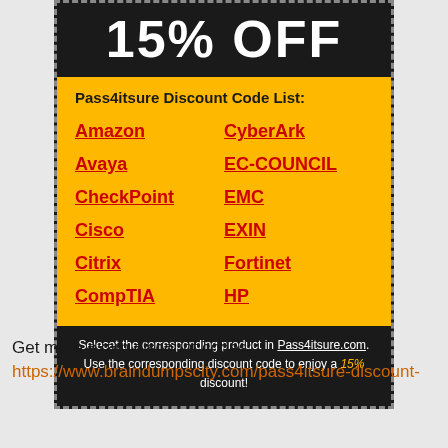15% OFF
Pass4itsure Discount Code List:
Amazon
CyberArk
Avaya
EC-COUNCIL
CheckPoint
EMC
Cisco
EXIN
Citrix
Fortinet
CompTIA
HP
Selecet the corresponding product in Pass4itsure.com. Use the corresponding discount code to enjoy a 15% discount!
Get more exam discount codes:
https://www.braindumpscity.com/pass4itsure-discount-